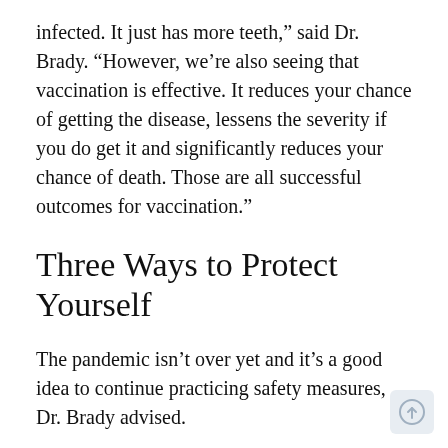infected. It just has more teeth,” said Dr. Brady. “However, we’re also seeing that vaccination is effective. It reduces your chance of getting the disease, lessens the severity if you do get it and significantly reduces your chance of death. Those are all successful outcomes for vaccination.”
Three Ways to Protect Yourself
The pandemic isn’t over yet and it’s a good idea to continue practicing safety measures, Dr. Brady advised.